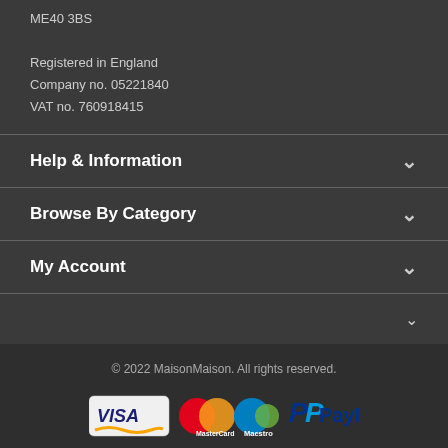ME40 3BS
Registered in England
Company no. 05221840
VAT no. 760918415
Help & Information
Browse By Category
My Account
© 2022 MaisonMaison. All rights reserved.
[Figure (logo): Payment logos: Visa, MasterCard, Maestro, PayPal]
Cookies are used on our website to provide the best experience, by using our website you agree to use of cookies detailed in our privacy policy.